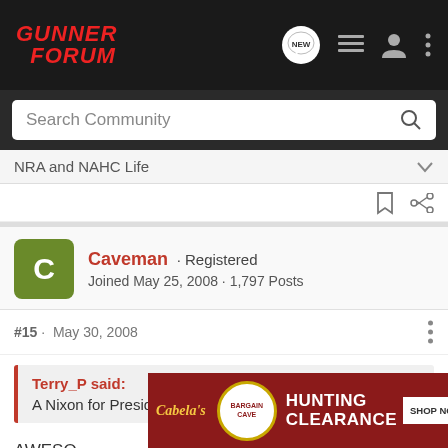[Figure (logo): Gunner Forum logo in red italic text on dark background with navigation icons]
Search Community
NRA and NAHC Life
Caveman · Registered
Joined May 25, 2008 · 1,797 Posts
#15 · May 30, 2008
Terry_P said:
A Nixon for President button
AWESO
Wow
[Figure (other): Cabela's Hunting Clearance Bargain Cave advertisement banner with Shop Now button]